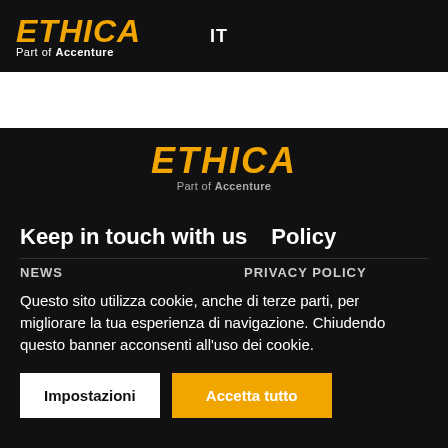ETHICA Part of Accenture | IT
[Figure (logo): ETHICA Part of Accenture logo centered on dark background]
Keep in touch with us   Policy
NEWS   PRIVACY POLICY
Questo sito utilizza cookie, anche di terze parti, per migliorare la tua esperienza di navigazione. Chiudendo questo banner acconsenti all'uso dei cookie.
Impostazioni   Accetta tutto